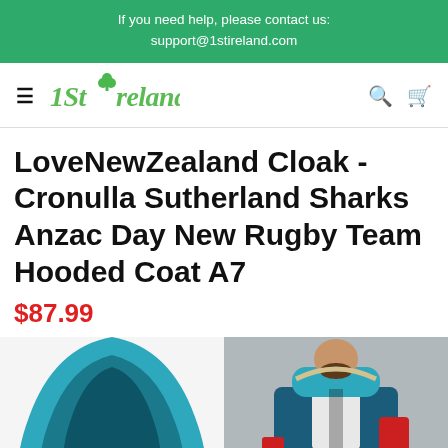If you need help, please contact us:
support@1stireland.com
[Figure (logo): 1St Ireland logo with shamrock]
LoveNewZealand Cloak - Cronulla Sutherland Sharks Anzac Day New Rugby Team Hooded Coat A7
$87.99
[Figure (photo): Two product images: left shows a teal hooded cloak from the front, right shows a man wearing a teal/black hooded jacket]